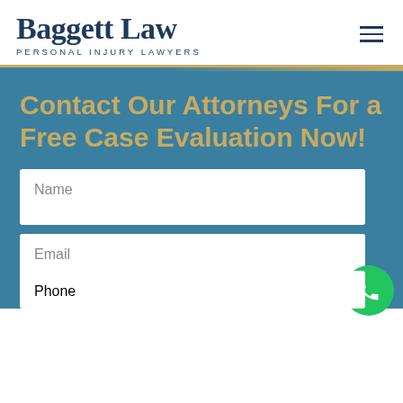[Figure (logo): Baggett Law Personal Injury Lawyers logo with serif font name and uppercase sans-serif tagline]
Contact Our Attorneys For a Free Case Evaluation Now!
Name
Email
Phone